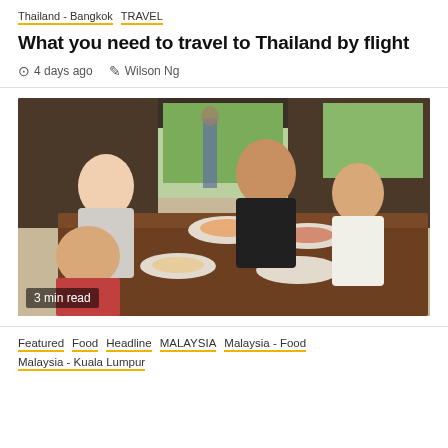Thailand - Bangkok  TRAVEL
What you need to travel to Thailand by flight
4 days ago  Wilson Ng
[Figure (photo): Family of four seated at a restaurant table with food, smiling at camera. Caption: 3 min read]
Featured  Food  Headline  MALAYSIA  Malaysia - Food  Malaysia - Kuala Lumpur